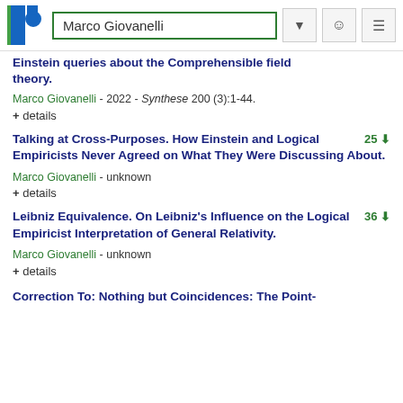Marco Giovanelli
Einstein queries about the Comprehensible field theory.
Marco Giovanelli - 2022 - Synthese 200 (3):1-44.
+ details
Talking at Cross-Purposes. How Einstein and Logical Empiricists Never Agreed on What They Were Discussing About.
Marco Giovanelli - unknown
+ details
Leibniz Equivalence. On Leibniz's Influence on the Logical Empiricist Interpretation of General Relativity.
Marco Giovanelli - unknown
+ details
Correction To: Nothing but Coincidences: The Point-